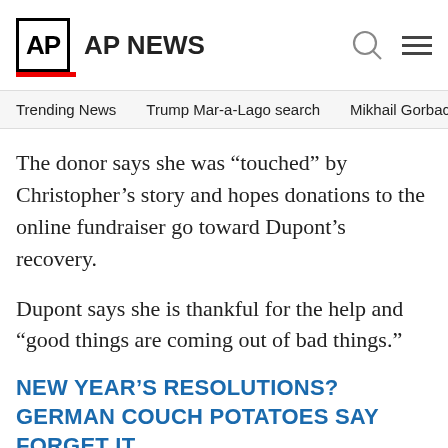AP AP NEWS
Trending News   Trump Mar-a-Lago search   Mikhail Gorbachev d
The donor says she was “touched” by Christopher’s story and hopes donations to the online fundraiser go toward Dupont’s recovery.
Dupont says she is thankful for the help and “good things are coming out of bad things.”
NEW YEAR’S RESOLUTIONS? GERMAN COUCH POTATOES SAY FORGET IT
BERLIN (AP) — It’s that time of the year to fulfill those ambitious New Year’s resolutions again: More vegetables, less alcohol, sign up for the gym.